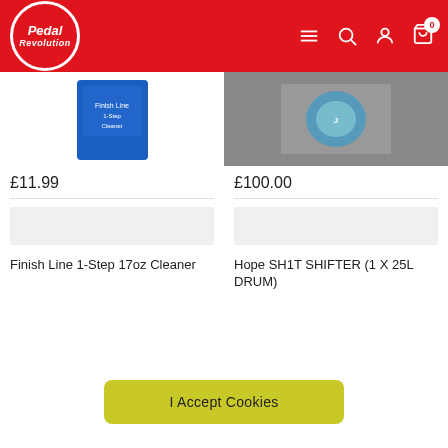[Figure (logo): Pedal Revolution logo - red circle with white border containing italic white text 'Pedal Revolution']
£11.99
[Figure (photo): Product image of Finish Line 1-Step 17oz Cleaner - blue container]
Finish Line 1-Step 17oz Cleaner
£100.00
[Figure (photo): Product image of Hope SH1T SHIFTER (1 X 25L DRUM) - gray/blue container]
Hope SH1T SHIFTER (1 X 25L DRUM)
I Accept Cookies